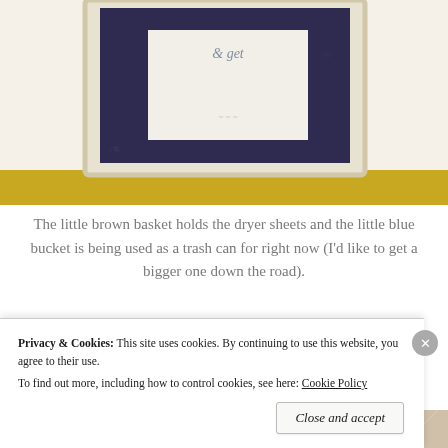[Figure (photo): Partial photo of a framed print on the wall. A white frame holds a dark navy/purple mat surrounding a white paper with decorative script text ('& get' visible at top). The frame sits against a yellow surface visible at the bottom.]
The little brown basket holds the dryer sheets and the little blue bucket is being used as a trash can for right now (I'd like to get a bigger one down the road).
[Figure (photo): Partial photo of white diagonal-paneled cabinet doors in a laundry room.]
Privacy & Cookies: This site uses cookies. By continuing to use this website, you agree to their use.
To find out more, including how to control cookies, see here: Cookie Policy